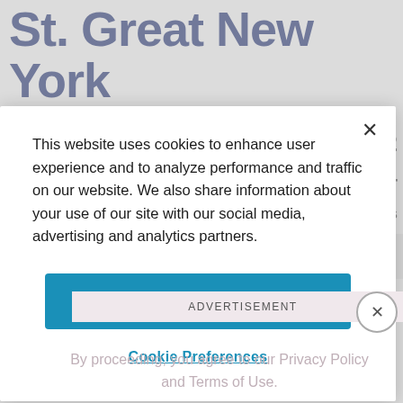Great New York State Fair –
This website uses cookies to enhance user experience and to analyze performance and traffic on our website. We also share information about your use of our site with our social media, advertising and analytics partners.
Accept Cookies
Cookie Preferences
ADVERTISEMENT
By proceeding, you agree to our Privacy Policy and Terms of Use.